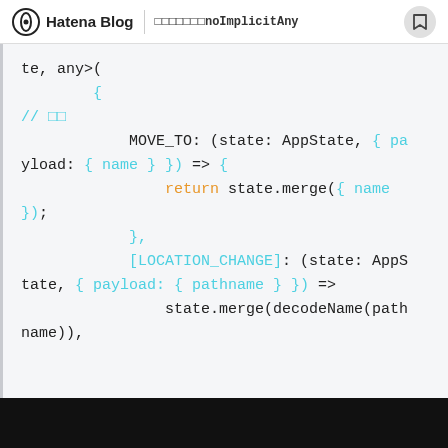Hatena Blog | ○○○○○○○noImplicitAny
[Figure (screenshot): Code snippet showing TypeScript reducer code with MOVE_TO and LOCATION_CHANGE handlers, displayed in a code block with syntax highlighting (cyan and orange colors on light gray background).]